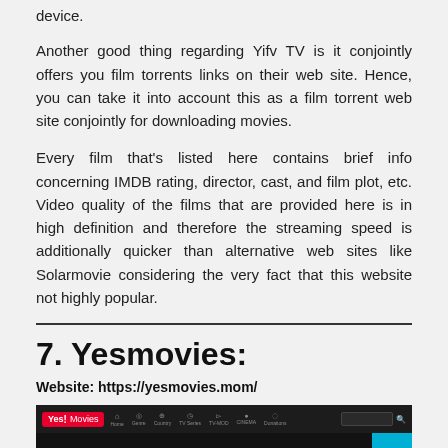device.
Another good thing regarding Yifv TV is it conjointly offers you film torrents links on their web site. Hence, you can take it into account this as a film torrent web site conjointly for downloading movies.
Every film that’s listed here contains brief info concerning IMDB rating, director, cast, and film plot, etc. Video quality of the films that are provided here is in high definition and therefore the streaming speed is additionally quicker than alternative web sites like Solarmovie considering the very fact that this website not highly popular.
7. Yesmovies:
Website: https://yesmovies.mom/
[Figure (screenshot): Screenshot of the Yesmovies website showing the navigation bar with Yes! Movies logo, genre/category links, search bar, and the main area with the large Yes! Movies logo on a dark background, with a cyan up-arrow button on the right.]